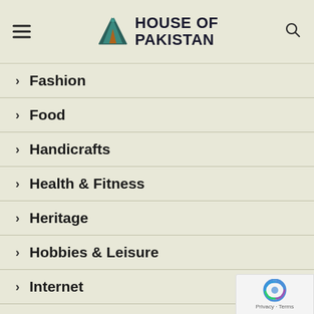HOUSE OF PAKISTAN
Fashion
Food
Handicrafts
Health & Fitness
Heritage
Hobbies & Leisure
Internet
Legal & Finance